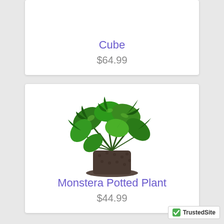Cube
$64.99
[Figure (photo): A monstera potted plant in a dark textured cylindrical pot with a saucer, showing large green split leaves.]
Monstera Potted Plant
$44.99
[Figure (logo): TrustedSite badge with green checkmark]